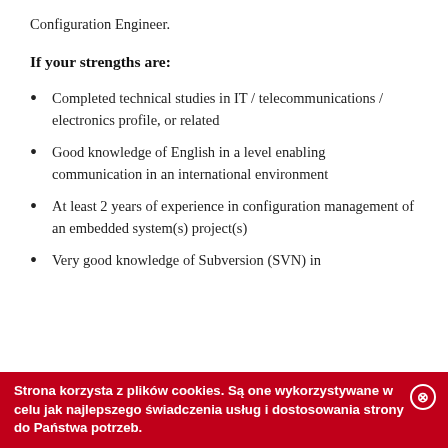Configuration Engineer.
If your strengths are:
Completed technical studies in IT / telecommunications / electronics profile, or related
Good knowledge of English in a level enabling communication in an international environment
At least 2 years of experience in configuration management of an embedded system(s) project(s)
Very good knowledge of Subversion (SVN) in
Strona korzysta z plików cookies. Są one wykorzystywane w celu jak najlepszego świadczenia usług i dostosowania strony do Państwa potrzeb.